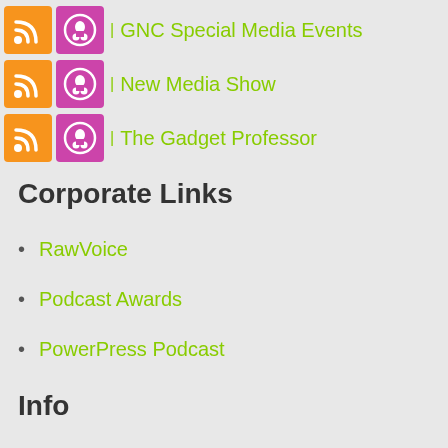| GNC Special Media Events
| New Media Show
| The Gadget Professor
Corporate Links
RawVoice
Podcast Awards
PowerPress Podcast
Info
About
Contact
Newsletter